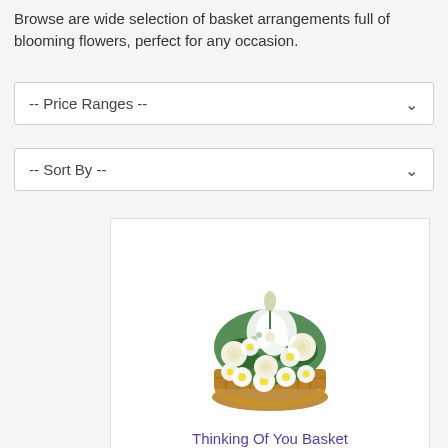Browse are wide selection of basket arrangements full of blooming flowers, perfect for any occasion.
[Figure (screenshot): Dropdown selector for Price Ranges]
[Figure (screenshot): Dropdown selector for Sort By]
[Figure (photo): Photo of a floral basket arrangement with white lilies, white roses, and white daisies in a wicker basket — product image for Thinking Of You Basket]
Thinking Of You Basket